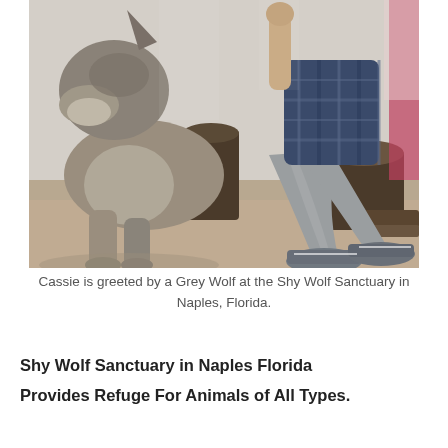[Figure (photo): A person in a plaid shirt and grey jeans sits on a tree stump while a grey wolf stands close and nuzzles or sniffs the person's raised fist. The setting is an outdoor sandy enclosure with tree stumps and another person visible in the background.]
Cassie is greeted by a Grey Wolf at the Shy Wolf Sanctuary in Naples, Florida.
Shy Wolf Sanctuary in Naples Florida Provides Refuge For Animals of All Types.